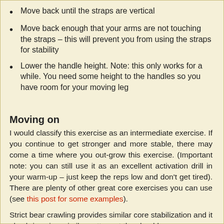Move back until the straps are vertical
Move back enough that your arms are not touching the straps – this will prevent you from using the straps for stability
Lower the handle height. Note: this only works for a while. You need some height to the handles so you have room for your moving leg
Moving on
I would classify this exercise as an intermediate exercise. If you continue to get stronger and more stable, there may come a time where you out-grow this exercise. (Important note: you can still use it as an excellent activation drill in your warm-up – just keep the reps low and don't get tired). There are plenty of other great core exercises you can use (see this post for some examples).
Strict bear crawling provides similar core stabilization and it also brings in a similar pattern at the shoulders.